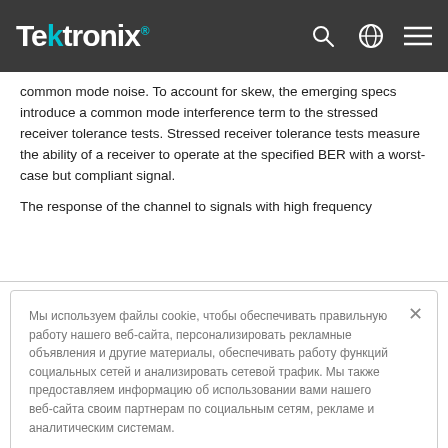Tektronix
common mode noise. To account for skew, the emerging specs introduce a common mode interference term to the stressed receiver tolerance tests. Stressed receiver tolerance tests measure the ability of a receiver to operate at the specified BER with a worst-case but compliant signal.

The response of the channel to signals with high frequency
Мы используем файлы cookie, чтобы обеспечивать правильную работу нашего веб-сайта, персонализировать рекламные объявления и другие материалы, обеспечивать работу функций социальных сетей и анализировать сетевой трафик. Мы также предоставляем информацию об использовании вами нашего веб-сайта своим партнерам по социальным сетям, рекламе и аналитическим системам.
Согласиться с использованием всех файлов cookie